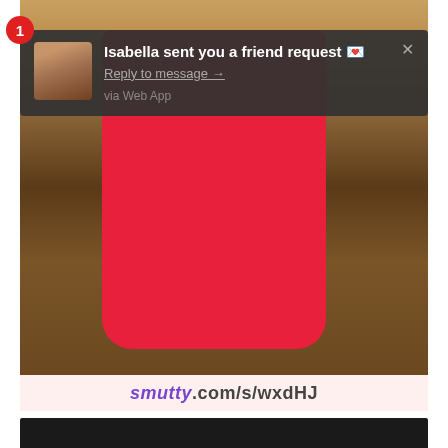[Figure (screenshot): A screenshot of a browser/app page showing a photo of a person in a red dress with a notification overlay. The notification reads 'Isabella sent you a friend request' with a 'Reply to message' link and 'via Web App'. A red badge with '1' appears. Below the photo is a URL bar showing 'smutty.com/s/wxdHJ'. A second photo begins at the bottom.]
Isabella sent you a friend request 💌
Reply to message →
via Web App
smutty.com/s/wxdHJ